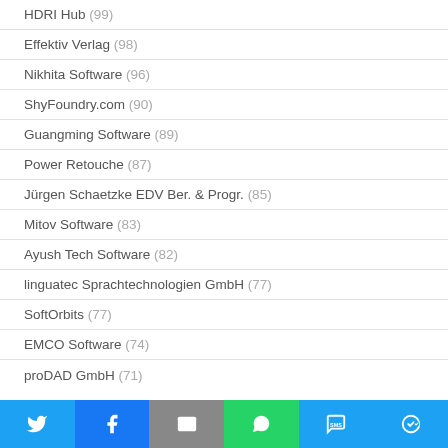HDRI Hub (99)
Effektiv Verlag (98)
Nikhita Software (96)
ShyFoundry.com (90)
Guangming Software (89)
Power Retouche (87)
Jürgen Schaetzke EDV Ber. & Progr. (85)
Mitov Software (83)
Ayush Tech Software (82)
linguatec Sprachtechnologien GmbH (77)
SoftOrbits (77)
EMCO Software (74)
proDAD GmbH (71)
[Figure (infographic): Social sharing bar with Twitter, Facebook, Email, WhatsApp, SMS, and More buttons]